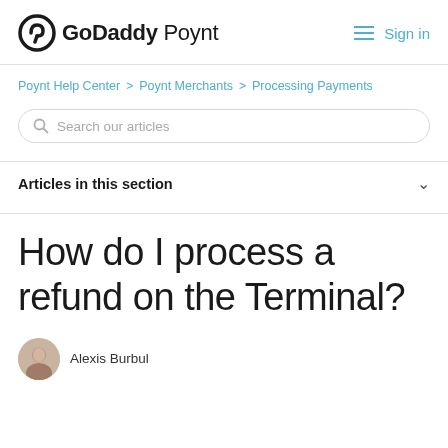GoDaddy Poynt  Sign in
Poynt Help Center > Poynt Merchants > Processing Payments
Search our articles
Articles in this section
How do I process a refund on the Terminal?
Alexis Burbul